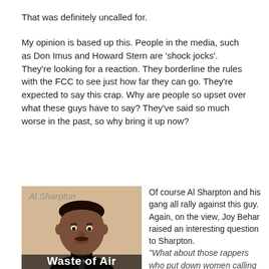That was definitely uncalled for.
My opinion is based up this. People in the media, such as Don Imus and Howard Stern are 'shock jocks'. They're looking for a reaction. They borderline the rules with the FCC to see just how far they can go. They're expected to say this crap. Why are people so upset over what these guys have to say? They've said so much worse in the past, so why bring it up now?
[Figure (photo): Photo of Al Sharpton labeled 'Waste of Air' at the bottom]
Of course Al Sharpton and his gang all rally against this guy. Again, on the view, Joy Behar raised an interesting question to Sharpton. "What about those rappers who put down women calling them 'hos' and degrading them with vulgarity?"